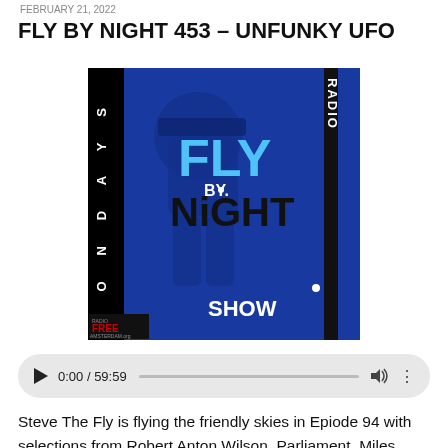FEBRUARY 21, 2022
FLY BY NIGHT 453 – UNFUNKY UFO
[Figure (illustration): Fly By Night Radio Show album art — blue-themed graphic with silhouette of person in hat, text reading FLY BY NIGHT RADIO SHOW MONDAYS, Radio Free Amsterdam logo]
[Figure (screenshot): Audio player UI showing 0:00 / 59:59 with play button, progress bar, volume icon and more options icon]
Steve The Fly is flying the friendly skies in Epiode 94 with selections from Robert Anton Wilson, Parliament, Miles Davis, John Coltrane, Thelonious Monk, Charles Mingus,